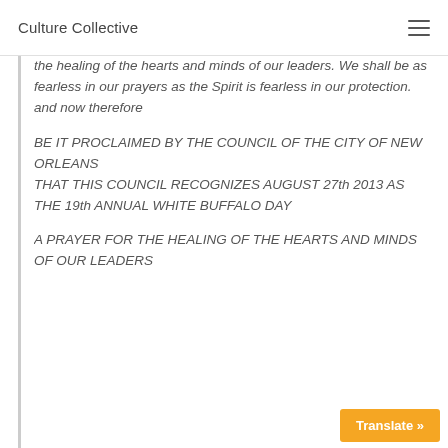Culture Collective
the healing of the hearts and minds of our leaders. We shall be as fearless in our prayers as the Spirit is fearless in our protection.
and now therefore
BE IT PROCLAIMED BY THE COUNCIL OF THE CITY OF NEW ORLEANS
THAT THIS COUNCIL RECOGNIZES AUGUST 27th 2013 AS
THE 19th ANNUAL WHITE BUFFALO DAY
A PRAYER FOR THE HEALING OF THE HEARTS AND MINDS
OF OUR LEADERS